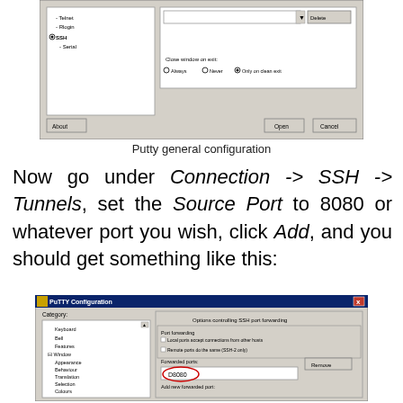[Figure (screenshot): PuTTY Configuration dialog showing general/session settings with Telnet, Rlogin, SSH, Serial options and About/Open/Cancel buttons]
Putty general configuration
Now go under Connection -> SSH -> Tunnels, set the Source Port to 8080 or whatever port you wish, click Add, and you should get something like this:
[Figure (screenshot): PuTTY Configuration dialog showing SSH Tunnels settings with Port forwarding options, Forwarded ports showing D8080 circled in red, and Add new forwarded port section]